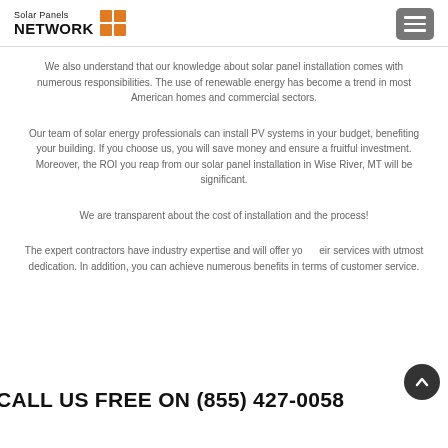Solar Panels NETWORK
We also understand that our knowledge about solar panel installation comes with numerous responsibilities. The use of renewable energy has become a trend in most American homes and commercial sectors.
Our team of solar energy professionals can install PV systems in your budget, benefiting your building. If you choose us, you will save money and ensure a fruitful investment. Moreover, the ROI you reap from our solar panel installation in Wise River, MT will be significant.
We are transparent about the cost of installation and the process!
The expert contractors have industry expertise and will offer your their services with utmost dedication. In addition, you can achieve numerous benefits in terms of customer service.
CALL US FREE ON (855) 427-0058